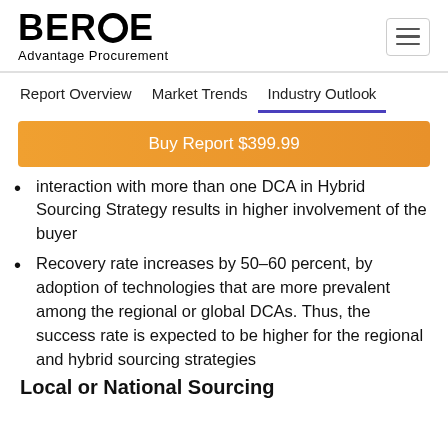BEROE Advantage Procurement
Report Overview   Market Trends   Industry Outlook
Buy Report $399.99
interaction with more than one DCA in Hybrid Sourcing Strategy results in higher involvement of the buyer
Recovery rate increases by 50–60 percent, by adoption of technologies that are more prevalent among the regional or global DCAs. Thus, the success rate is expected to be higher for the regional and hybrid sourcing strategies
Local or National Sourcing